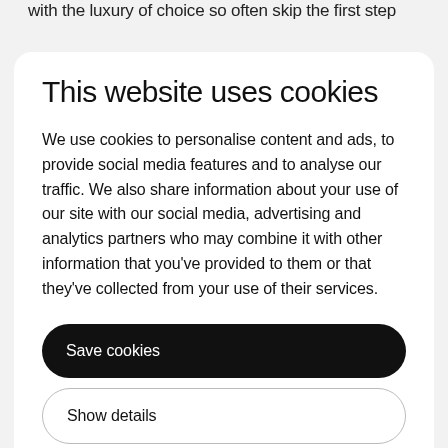with the luxury of choice so often skip the first step
This website uses cookies
We use cookies to personalise content and ads, to provide social media features and to analyse our traffic. We also share information about your use of our site with our social media, advertising and analytics partners who may combine it with other information that you've provided to them or that they've collected from your use of their services.
Save cookies
Show details